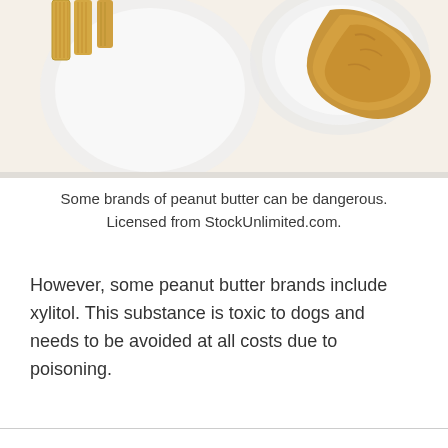[Figure (photo): Photo of peanut butter with crackers/biscuits and a white container, shot from above on a white surface. The image is cropped showing the top portion of the scene with golden/brown food items.]
Some brands of peanut butter can be dangerous. Licensed from StockUnlimited.com.
However, some peanut butter brands include xylitol. This substance is toxic to dogs and needs to be avoided at all costs due to poisoning.